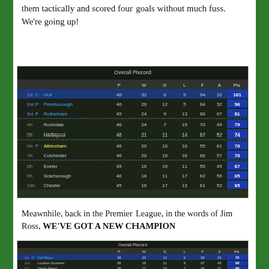them tactically and scored four goals without much fuss. We're going up!
[Figure (screenshot): Football Manager league table screenshot showing Overall Record with teams: 1st C Hull 46 32 6 9 94 32 101, 2nd P Peterborough 46 28 12 5 84 32 96, 3rd P Rotherham 45 24 9 13 80 67 81, 4th Rochdale 46 24 7 15 70 49 79, 5th Hartlepool 46 21 11 14 67 52 74, 6th P Altrincham 46 20 10 16 55 61 70, 7th Colchester 46 20 10 16 60 57 70, 8th Exeter 45 16 19 11 55 45 67, 9th Scarborough 46 18 11 17 62 59 65, 10th Chester 45 16 17 13 61 53 65]
Meawnhile, back in the Premier League, in the words of Jim Ross, WE'VE GOT A NEW CHAMPION
[Figure (screenshot): Football Manager Premier League table screenshot showing Overall Record with teams: 1st C Dell Boys 38 20 12 6 68 29 72, 2nd London Gunners 38 18 11 9 67 43 66, 3rd Derby Rams 38 17 14 7 45 31 66, 4th Barnsley Tykes 38 17 11 10 53 38 62, 5th Sky Blues 38 16 12 10 54 43 60, 6th East London Hammers (partial)]